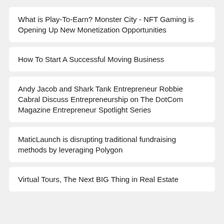What is Play-To-Earn? Monster City - NFT Gaming is Opening Up New Monetization Opportunities
How To Start A Successful Moving Business
Andy Jacob and Shark Tank Entrepreneur Robbie Cabral Discuss Entrepreneurship on The DotCom Magazine Entrepreneur Spotlight Series
MaticLaunch is disrupting traditional fundraising methods by leveraging Polygon
Virtual Tours, The Next BIG Thing in Real Estate